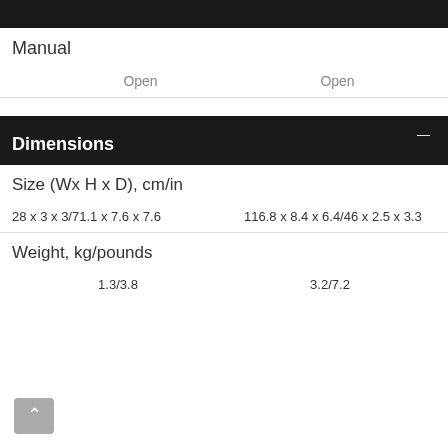Manual
Open	Open
Dimensions
Size (Wx H x D), cm/in
28 x 3 x 3/71.1 x 7.6 x 7.6	116.8 x 8.4 x 6.4/46 x 2.5 x 3.3
Weight, kg/pounds
1.3/3.8	3.2/7.2